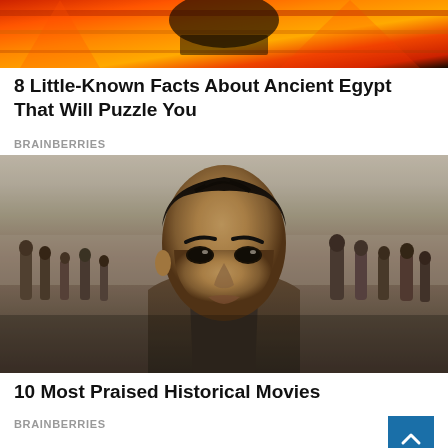[Figure (photo): Partial image of colorful ancient Egyptian decorative artwork with orange and red tones, cropped at top]
8 Little-Known Facts About Ancient Egypt That Will Puzzle You
BRAINBERRIES
[Figure (photo): Movie still from Dunkirk showing a young male soldier with dark hair looking upward, with other soldiers and a beach in the background]
10 Most Praised Historical Movies
BRAINBERRIES
[Figure (photo): Partial image at bottom of page showing warm toned scene, cropped]